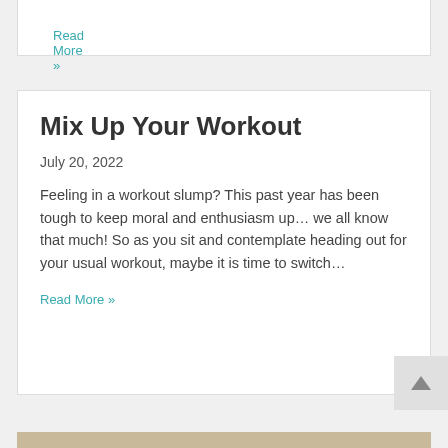Read More »
Mix Up Your Workout
July 20, 2022
Feeling in a workout slump? This past year has been tough to keep moral and enthusiasm up… we all know that much! So as you sit and contemplate heading out for your usual workout, maybe it is time to switch…
Read More »